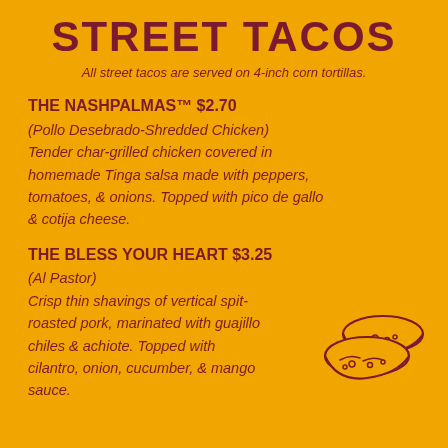STREET TACOS
All street tacos are served on 4-inch corn tortillas.
THE NASHPALMAS™ $2.70
(Pollo Desebrado-Shredded Chicken) Tender char-grilled chicken covered in homemade Tinga salsa made with peppers, tomatoes, & onions. Topped with pico de gallo & cotija cheese.
THE BLESS YOUR HEART $3.25
(Al Pastor) Crisp thin shavings of vertical spit-roasted pork, marinated with guajillo chiles & achiote. Topped with cilantro, onion, cucumber, & mango sauce.
[Figure (illustration): Line drawing of two tacos stacked, drawn in dark red/maroon outline style on orange background.]